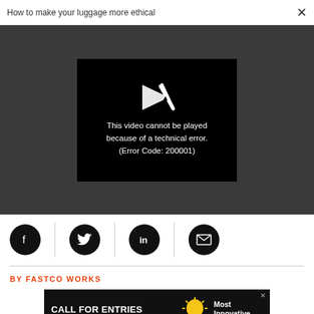How to make your luggage more ethical
[Figure (screenshot): Video player error screen showing broken play button icon and text: This video cannot be played because of a technical error. (Error Code: 200001)]
[Figure (infographic): Social sharing buttons: Facebook, Twitter, LinkedIn, Email icons (black circles) separated by vertical lines]
BY FASTCO WORKS
[Figure (infographic): Advertisement banner: CALL FOR ENTRIES, DEADLINE: SEPTEMBER 23, Most Innovative Companies, with lightbulb icon]